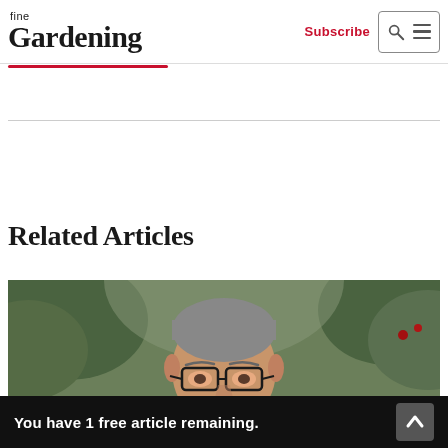fine Gardening — Subscribe [search/menu icons]
Related Articles
[Figure (photo): Portrait photo of a middle-aged man with glasses and grey hair, outdoors with green trees/foliage in background]
You have 1 free article remaining.